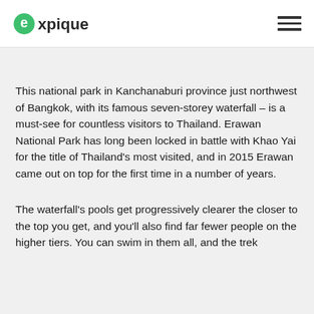expique
This national park in Kanchanaburi province just northwest of Bangkok, with its famous seven-storey waterfall – is a must-see for countless visitors to Thailand. Erawan National Park has long been locked in battle with Khao Yai for the title of Thailand's most visited, and in 2015 Erawan came out on top for the first time in a number of years.
The waterfall's pools get progressively clearer the closer to the top you get, and you'll also find far fewer people on the higher tiers. You can swim in them all, and the trek